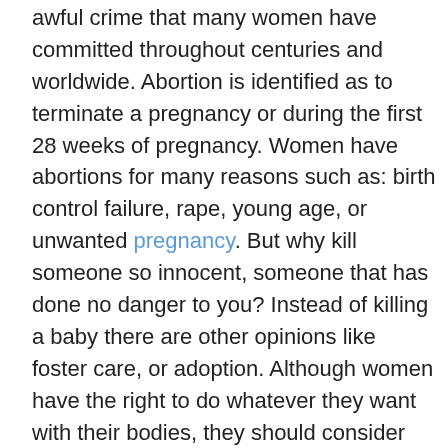awful crime that many women have committed throughout centuries and worldwide. Abortion is identified as to terminate a pregnancy or during the first 28 weeks of pregnancy. Women have abortions for many reasons such as: birth control failure, rape, young age, or unwanted pregnancy. But why kill someone so innocent, someone that has done no danger to you? Instead of killing a baby there are other opinions like foster care, or adoption. Although women have the right to do whatever they want with their bodies, they should consider not doing abortions because it takes innocent lives, causes emotional problems, and damages relationships.
First of all, it's completely wrong to kill a human being, especially …show more content…
But many relationships with couples or married